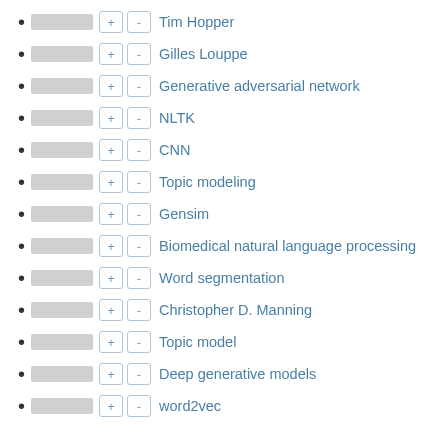Tim Hopper
Gilles Louppe
Generative adversarial network
NLTK
CNN
Topic modeling
Gensim
Biomedical natural language processing
Word segmentation
Christopher D. Manning
Topic model
Deep generative models
word2vec